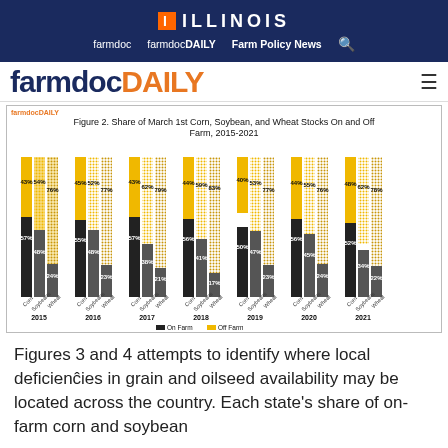ILLINOIS | farmdoc  farmdocDAILY  Farm Policy News
farmdocDAILY
[Figure (stacked-bar-chart): Figure 2. Share of March 1st Corn, Soybean, and Wheat Stocks On and Off Farm, 2015-2021]
Figures 3 and 4 attempts to identify where local deficiencies in grain and oilseed availability may be located across the country. Each state's share of on-farm corn and soybean